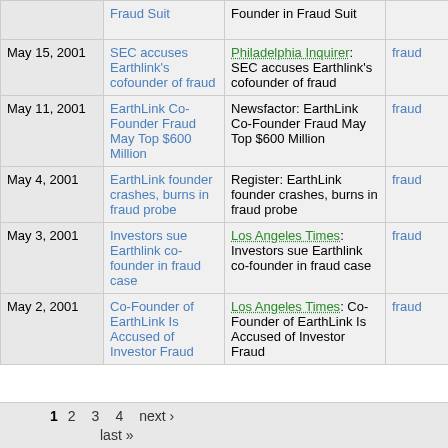| Date | Link | Source | Tag |
| --- | --- | --- | --- |
|  | Fraud Suit | Founder in Fraud Suit |  |
| May 15, 2001 | SEC accuses Earthlink's cofounder of fraud | Philadelphia Inquirer: SEC accuses Earthlink's cofounder of fraud | fraud |
| May 11, 2001 | EarthLink Co-Founder Fraud May Top $600 Million | Newsfactor: EarthLink Co-Founder Fraud May Top $600 Million | fraud |
| May 4, 2001 | EarthLink founder crashes, burns in fraud probe | Register: EarthLink founder crashes, burns in fraud probe | fraud |
| May 3, 2001 | Investors sue Earthlink co-founder in fraud case | Los Angeles Times: Investors sue Earthlink co-founder in fraud case | fraud |
| May 2, 2001 | Co-Founder of EarthLink Is Accused of Investor Fraud | Los Angeles Times: Co-Founder of EarthLink Is Accused of Investor Fraud | fraud |
1  2  3  4  next › last »